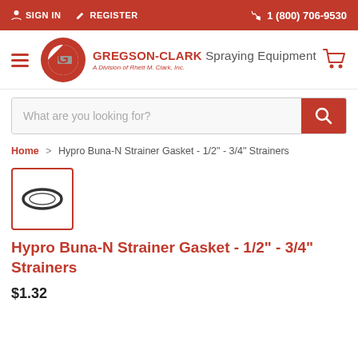SIGN IN   REGISTER   1 (800) 706-9530
[Figure (logo): Gregson-Clark Spraying Equipment logo with red circular G mark and text 'GREGSON-CLARK Spraying Equipment, A Division of Rhett M. Clark, Inc.']
What are you looking for?
Home > Hypro Buna-N Strainer Gasket - 1/2" - 3/4" Strainers
[Figure (photo): Small product thumbnail showing a black oval rubber gasket/O-ring on white background, inside a red-bordered square]
Hypro Buna-N Strainer Gasket - 1/2" - 3/4" Strainers
$1.32